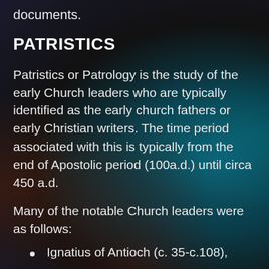documents.
PATRISTICS
Patristics or Patrology is the study of the early Church leaders who are typically identified as the early church fathers or early Christian writers. The time period associated with this is typically from the end of Apostolic period (100a.d.) until circa 450 a.d.
Many of the notable Church leaders were as follows:
Ignatius of Antioch (c. 35-c.108),
Pope Clement I (c.1st century AD- 101),